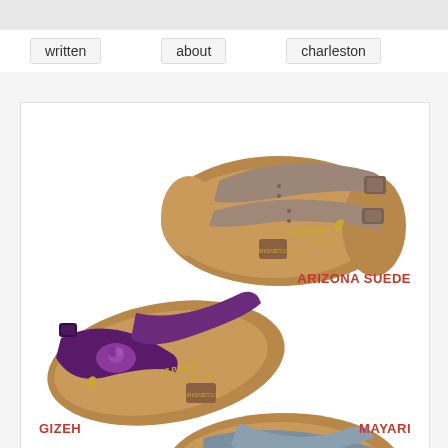written   about   charleston
[Figure (photo): Top-down view of Birkenstock Arizona Suede sandal in tan/taupe color with two straps and buckles, Birkenstock logo visible on footbed, labeled 'ARIZONA SUEDE' in red]
[Figure (photo): Top-down view of Birkenstock Gizeh thong sandal in dark purple/plum with floral toe post detail, Birkenstock logo visible on tan footbed, labeled 'GIZEH' in red]
[Figure (photo): Top-down view of Birkenstock Mayari thong sandal in grey/steel blue with cross-strap design, Birkenstock logo visible on tan footbed, labeled 'MAYARI' in red]